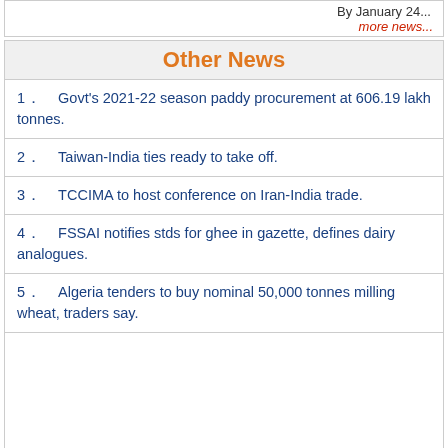By January 24...
more news...
Other News
1．　Govt's 2021-22 season paddy procurement at 606.19 lakh tonnes.
2．　Taiwan-India ties ready to take off.
3．　TCCIMA to host conference on Iran-India trade.
4．　FSSAI notifies stds for ghee in gazette, defines dairy analogues.
5．　Algeria tenders to buy nominal 50,000 tonnes milling wheat, traders say.